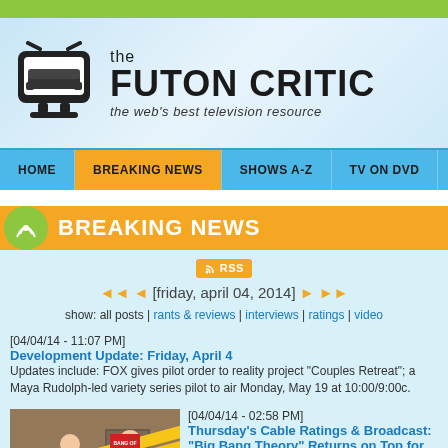the FUTON CRITIC — the web's best television resource
HOME | BREAKING NEWS | SHOWS A-Z | TV ON DVD | LISTINGS
BREAKING NEWS
RSS
◄◄ ◄ [friday, april 04, 2014] ► ►►
show: all posts | rants & reviews | interviews | ratings | video
[04/04/14 - 11:07 PM]
Development Update: Friday, April 4
Updates include: FOX gives pilot order to reality project "Couples Retreat"; a Maya Rudolph-led variety series pilot to air Monday, May 19 at 10:00/9:00c.
[Figure (photo): Still from The Big Bang Theory showing two characters near caution tape]
[04/04/14 - 02:58 PM]
Thursday's Cable Ratings & Broadcast: "Big Bang Theory" Returns on Top for CBS Again
Plus: numbers for TLC's "My Big Fat American Gypsy Wedding," FX's "Saint George" and Bravo's "Millionaire Matchmaker."